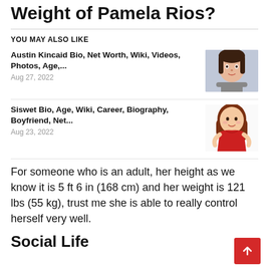Weight of Pamela Rios?
YOU MAY ALSO LIKE
Austin Kincaid Bio, Net Worth, Wiki, Videos, Photos, Age,...
Aug 27, 2022
[Figure (photo): Photo of Austin Kincaid, a woman with dark hair]
Siswet Bio, Age, Wiki, Career, Biography, Boyfriend, Net...
Aug 23, 2022
[Figure (illustration): Cartoon illustration of a woman with brown hair in a red dress]
For someone who is an adult, her height as we know it is 5 ft 6 in (168 cm) and her weight is 121 lbs (55 kg), trust me she is able to really control herself very well.
Social Life